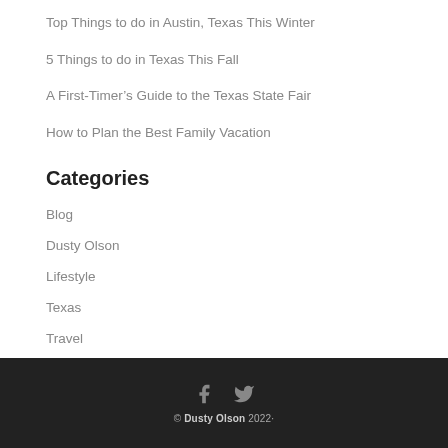Top Things to do in Austin, Texas This Winter
5 Things to do in Texas This Fall
A First-Timer’s Guide to the Texas State Fair
How to Plan the Best Family Vacation
Categories
Blog
Dusty Olson
Lifestyle
Texas
Travel
© Dusty Olson 2022·